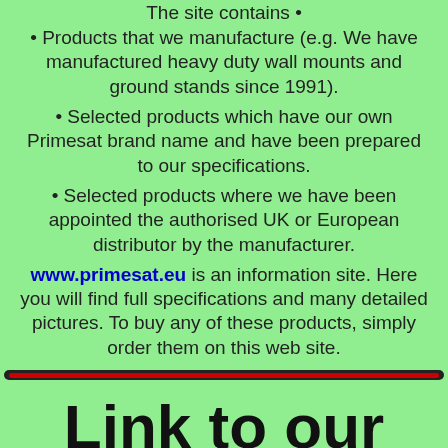The site contains •
• Products that we manufacture (e.g. We have manufactured heavy duty wall mounts and ground stands since 1991).
• Selected products which have our own Primesat brand name and have been prepared to our specifications.
• Selected products where we have been appointed the authorised UK or European distributor by the manufacturer.
www.primesat.eu is an information site. Here you will find full specifications and many detailed pictures. To buy any of these products, simply order them on this web site.
Link to our own satellite museum